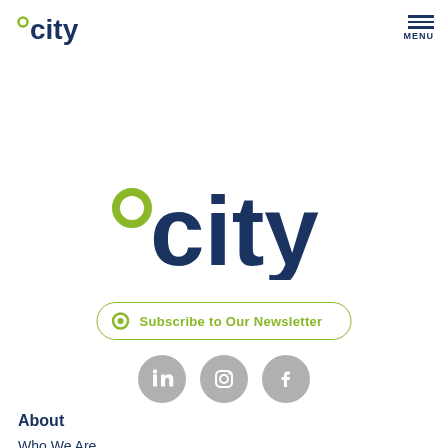°city | MENU
[Figure (logo): City University London logo — green degree symbol with dark navy 'city' text, large centered version]
[Figure (other): Subscribe to Our Newsletter button with green circle icon and rounded border]
[Figure (other): Three social media icons: LinkedIn, Instagram, Facebook — grey circles]
About
Who We Are